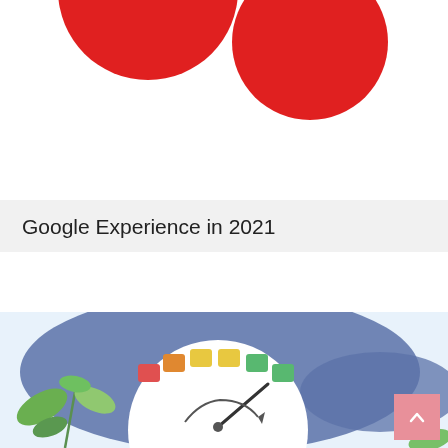[Figure (illustration): Two red circles on a white background, partially cropped at the top of the page]
Google Experience in 2021
[Figure (illustration): Illustration of a speedometer/gauge with colored segments (red, orange, yellow, green) with an arrow pointing to the green zone, surrounded by a blue organic shape and green leaves, on a light blue background. A pink scroll-to-top button with an up arrow chevron is in the bottom right corner.]